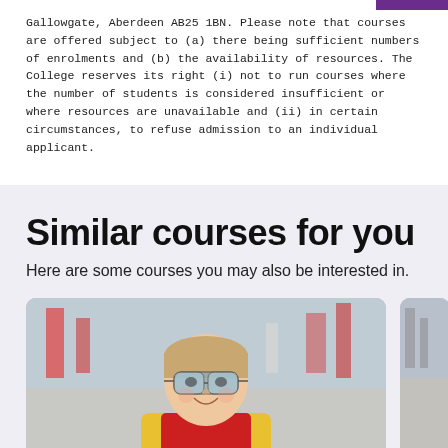Gallowgate, Aberdeen AB25 1BN. Please note that courses are offered subject to (a) there being sufficient numbers of enrolments and (b) the availability of resources. The College reserves its right (i) not to run courses where the number of students is considered insufficient or where resources are unavailable and (ii) in certain circumstances, to refuse admission to an individual applicant.
Similar courses for you
Here are some courses you may also be interested in.
[Figure (photo): A smiling young woman wearing safety goggles and a red and yellow hi-vis vest, photographed in an industrial/workshop setting with equipment in the background.]
[Figure (photo): Partially visible second course card at the right edge of the page.]